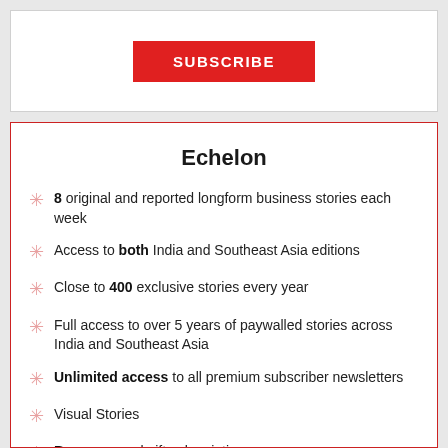SUBSCRIBE
Echelon
8 original and reported longform business stories each week
Access to both India and Southeast Asia editions
Close to 400 exclusive stories every year
Full access to over 5 years of paywalled stories across India and Southeast Asia
Unlimited access to all premium subscriber newsletters
Visual Stories
Bonus annual gift subscription